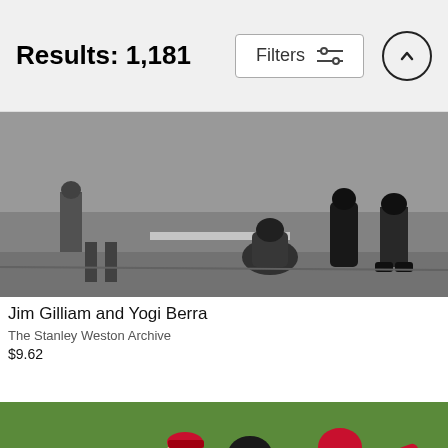Results: 1,181
[Figure (photo): Black and white baseball photo showing Jim Gilliam and Yogi Berra at home plate with catcher squatting and umpire standing]
Jim Gilliam and Yogi Berra
The Stanley Weston Archive
$9.62
[Figure (photo): Color photo of two Philadelphia Phillies baseball players celebrating, one pitcher raising arms and one catcher in red helmet]